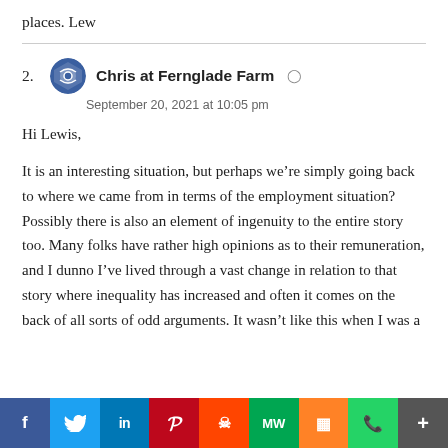places. Lew
2. Chris at Fernglade Farm
September 20, 2021 at 10:05 pm

Hi Lewis,

It is an interesting situation, but perhaps we're simply going back to where we came from in terms of the employment situation? Possibly there is also an element of ingenuity to the entire story too. Many folks have rather high opinions as to their remuneration, and I dunno I've lived through a vast change in relation to that story where inequality has increased and often it comes on the back of all sorts of odd arguments. It wasn't like this when I was a
[Figure (infographic): Social media share bar with buttons: Facebook (f), Twitter (bird), LinkedIn (in), Pinterest (P), Reddit (alien), MeWe (MW), Mix (m), WhatsApp (phone), More (+)]